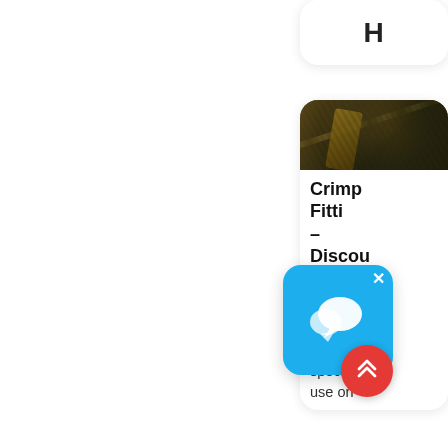[Figure (screenshot): Top card with partial text visible, showing 'H' or similar large letter, white rounded card on right side]
[Figure (screenshot): Product card showing hydraulic hose image at top, title 'Crimp Fitti- Discou Hydra Hose' and description 'Fittings desgin specif. use on']
[Figure (screenshot): Chat bubble overlay icon - blue rounded square with white speech bubble icon and X close button]
[Figure (screenshot): Red circular scroll-to-top button with double chevron up arrow]